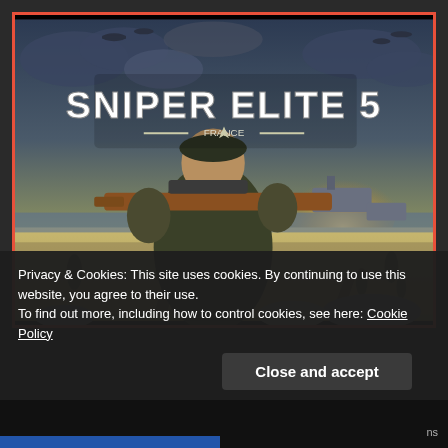[Figure (screenshot): Sniper Elite 5 video game cover art showing a soldier aiming a sniper rifle with a wartime beach invasion scene in background, orange border frame]
Privacy & Cookies: This site uses cookies. By continuing to use this website, you agree to their use.
To find out more, including how to control cookies, see here: Cookie Policy
Close and accept